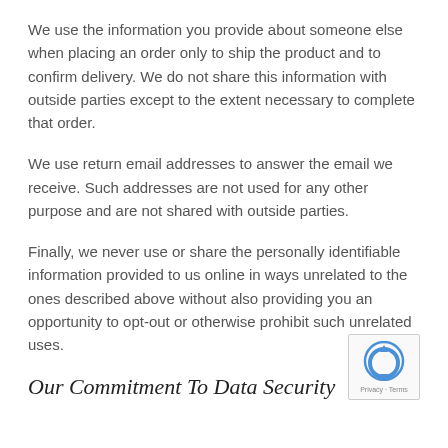We use the information you provide about someone else when placing an order only to ship the product and to confirm delivery. We do not share this information with outside parties except to the extent necessary to complete that order.
We use return email addresses to answer the email we receive. Such addresses are not used for any other purpose and are not shared with outside parties.
Finally, we never use or share the personally identifiable information provided to us online in ways unrelated to the ones described above without also providing you an opportunity to opt-out or otherwise prohibit such unrelated uses.
Our Commitment To Data Security
[Figure (logo): reCAPTCHA badge with Privacy and Terms text]